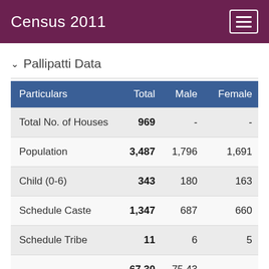Census 2011
Pallipatti Data
| Particulars | Total | Male | Female |
| --- | --- | --- | --- |
| Total No. of Houses | 969 | - | - |
| Population | 3,487 | 1,796 | 1,691 |
| Child (0-6) | 343 | 180 | 163 |
| Schedule Caste | 1,347 | 687 | 660 |
| Schedule Tribe | 11 | 6 | 5 |
| Literacy | 67.30 % | 75.43 % | 58.70 % |